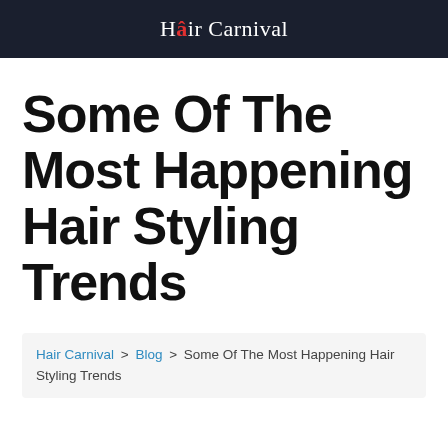Hair Carnival
Some Of The Most Happening Hair Styling Trends
Hair Carnival > Blog > Some Of The Most Happening Hair Styling Trends